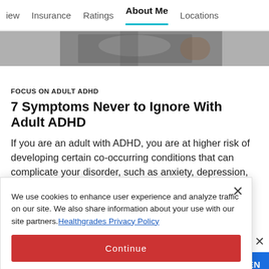iew   Insurance   Ratings   About Me   Locations
[Figure (photo): Partial hero image showing a person, appears to be a medical or lifestyle context]
FOCUS ON ADULT ADHD
7 Symptoms Never to Ignore With Adult ADHD
If you are an adult with ADHD, you are at higher risk of developing certain co-occurring conditions that can complicate your disorder, such as anxiety, depression, sleep disturbances, and substance...
We use cookies to enhance user experience and analyze traffic on our site. We also share information about your use with our site partners. Healthgrades Privacy Policy
Continue
Access my Privacy Preferences